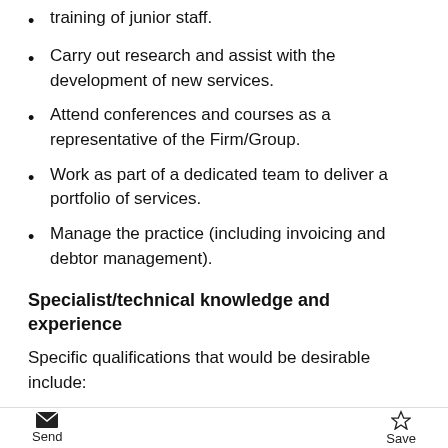training of junior staff.
Carry out research and assist with the development of new services.
Attend conferences and courses as a representative of the Firm/Group.
Work as part of a dedicated team to deliver a portfolio of services.
Manage the practice (including invoicing and debtor management).
Specialist/technical knowledge and experience
Specific qualifications that would be desirable include:
A recognised IT audit qualification such as CISA, CISPP, or equivalent.
A recognised project management qualification such as PRINCE 2, or equivalent.
Send  Save